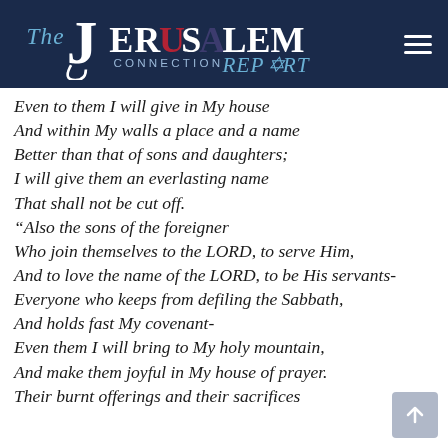The Jerusalem Connection Report
Even to them I will give in My house
And within My walls a place and a name
Better than that of sons and daughters;
I will give them an everlasting name
That shall not be cut off.
“Also the sons of the foreigner
Who join themselves to the LORD, to serve Him,
And to love the name of the LORD, to be His servants-
Everyone who keeps from defiling the Sabbath,
And holds fast My covenant-
Even them I will bring to My holy mountain,
And make them joyful in My house of prayer.
Their burnt offerings and their sacrifices